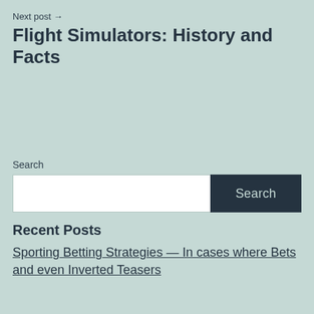Next post →
Flight Simulators: History and Facts
Search
[Figure (screenshot): Search input box with white text field and dark navy Search button]
Recent Posts
Sporting Betting Strategies — In cases where Bets and even Inverted Teasers
(partially visible/cut off at bottom)